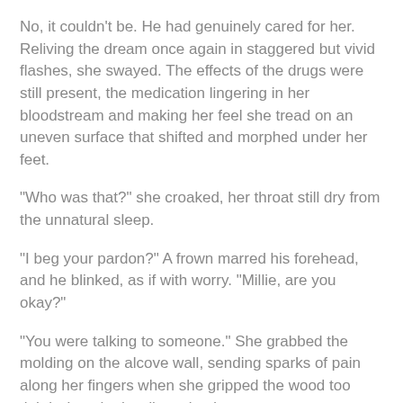No, it couldn't be. He had genuinely cared for her. Reliving the dream once again in staggered but vivid flashes, she swayed. The effects of the drugs were still present, the medication lingering in her bloodstream and making her feel she tread on an uneven surface that shifted and morphed under her feet.
"Who was that?" she croaked, her throat still dry from the unnatural sleep.
"I beg your pardon?" A frown marred his forehead, and he blinked, as if with worry. "Millie, are you okay?"
"You were talking to someone." She grabbed the molding on the alcove wall, sending sparks of pain along her fingers when she gripped the wood too tightly, but she hardly noticed.
He took a few steps toward her, then came to a standstill a yard away. "Millie, what are you talking about?"